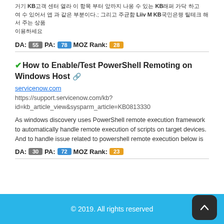[garbled Korean/encoded text] Liiv M KB[garbled] [garbled]
DA: 55 PA: 78 MOZ Rank: 28
✔How to Enable/Test PowerShell Remoting on Windows Host 🔗
servicenow.com
https://support.servicenow.com/kb?id=kb_article_view&sysparm_article=KB0813330
As windows discovery uses PowerShell remote execution framework to automatically handle remote execution of scripts on target devices. And to handle issue related to powershell remote execution below is
DA: 30 PA: 72 MOZ Rank: 23
© 2019. All rights reserved